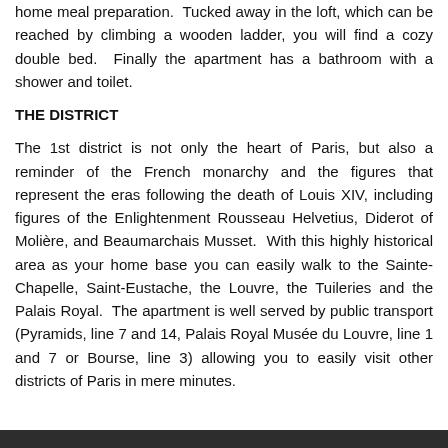home meal preparation.  Tucked away in the loft, which can be reached by climbing a wooden ladder, you will find a cozy double bed.  Finally the apartment has a bathroom with a shower and toilet.
THE DISTRICT
The 1st district is not only the heart of Paris, but also a reminder of the French monarchy and the figures that represent the eras following the death of Louis XIV, including figures of the Enlightenment Rousseau Helvetius, Diderot of Molière, and Beaumarchais Musset.  With this highly historical area as your home base you can easily walk to the Sainte-Chapelle, Saint-Eustache, the Louvre, the Tuileries and the Palais Royal.  The apartment is well served by public transport (Pyramids, line 7 and 14, Palais Royal Musée du Louvre, line 1 and 7 or Bourse, line 3) allowing you to easily visit other districts of Paris in mere minutes.